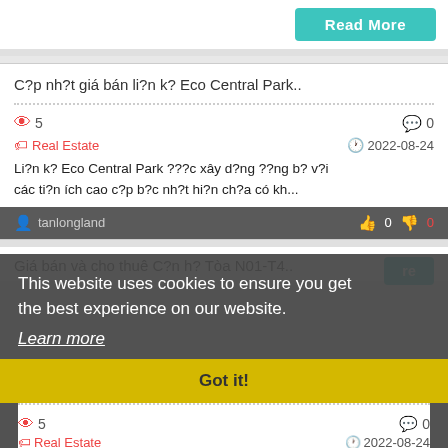Read More
C?p nh?t giá bán li?n k? Eco Central Park..
5
0
Real Estate
2022-08-24
Li?n k? Eco Central Park ???c xây d?ng ??ng b? v?i các ti?n ích cao c?p b?c nh?t hi?n ch?a có kh...
tanlongland
0
0
This website uses cookies to ensure you get the best experience on our website.
Learn more
Got it!
Giá bán và cho thuê C?n h? Tòa N01-T4..
5
0
Real Estate
2022-08-24
Giá bán và cho thuê C?n h? Tòa N01-T4 khu Ngo?i